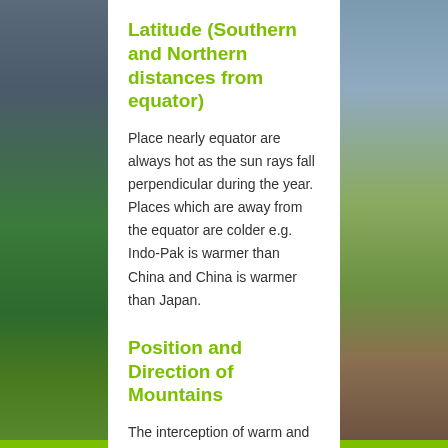[Figure (photo): Background photo split: left side shows a stormy sky over green fields, right side shows a sunny sky with lavender/crop rows and red-brown soil path. A white panel is overlaid in the center.]
Latitude (Southern and Northern distances from equator)
Place nearly equator are always hot as the sun rays fall perpendicular during the year. Places which are away from the equator are colder e.g. Indo-Pak is warmer than China and China is warmer than Japan.
Position and Direction of Mountains
The interception of warm and moist winds by high mountains that causes heavy rain falls on one side while in